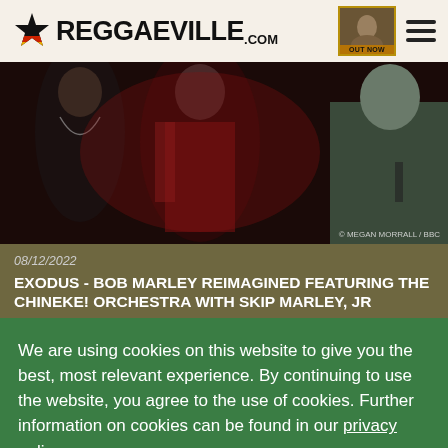REGGAEVILLE.COM
[Figure (photo): Concert photo showing performers on stage with red lighting and a person in a grey top on the right; photo credit reads MEGAN MORRALL / BBC]
08/12/2022
EXODUS - BOB MARLEY REIMAGINED FEATURING THE CHINEKE! ORCHESTRA WITH SKIP MARLEY, JR
We are using cookies on this website to give you the best, most relevant experience. By continuing to use the website, you agree to the use of cookies. Further information on cookies can be found in our privacy policy.
I AGREE